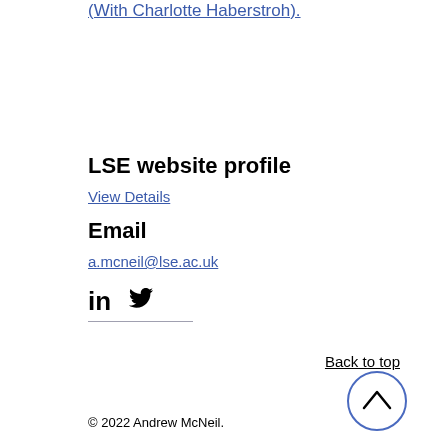(With Charlotte Haberstroh).
LSE website profile
View Details
Email
a.mcneil@lse.ac.uk
[Figure (other): LinkedIn and Twitter social media icons]
Back to top
[Figure (other): Back to top arrow circle button]
© 2022 Andrew McNeil.